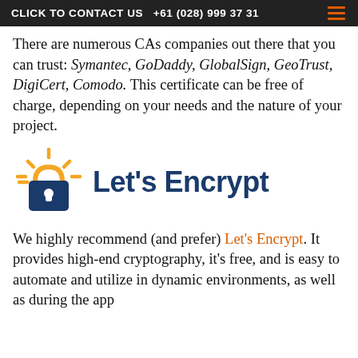CLICK TO CONTACT US  +61 (028) 999 37 31
There are numerous CAs companies out there that you can trust: Symantec, GoDaddy, GlobalSign, GeoTrust, DigiCert, Comodo. This certificate can be free of charge, depending on your needs and the nature of your project.
[Figure (logo): Let's Encrypt logo: an orange padlock with rays (sun-like) above it on the left, and the text 'Let's Encrypt' in dark navy blue bold sans-serif on the right.]
We highly recommend (and prefer) Let's Encrypt. It provides high-end cryptography, it's free, and is easy to automate and utilize in dynamic environments, as well as during the app